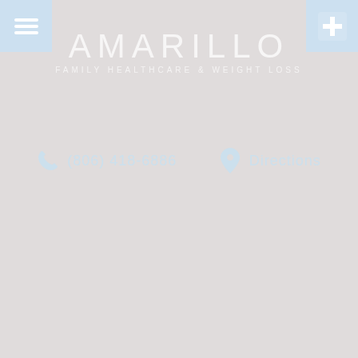[Figure (logo): Hamburger menu icon in light blue box, top-left corner]
[Figure (logo): Medical cross / plus icon in light blue box, top-right corner]
AMARILLO
FAMILY HEALTHCARE & WEIGHT LOSS
(806) 418-6886
Directions